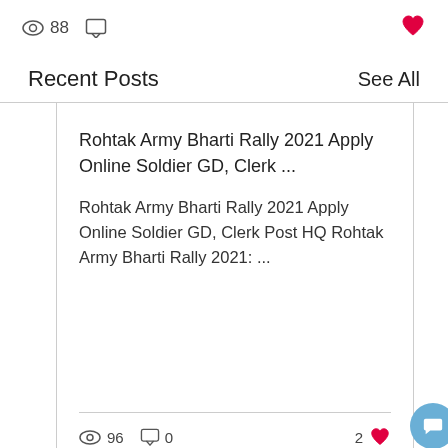88 views, 0 comments, heart/like button
Recent Posts  See All
Rohtak Army Bharti Rally 2021 Apply Online Soldier GD, Clerk ...
Rohtak Army Bharti Rally 2021 Apply Online Soldier GD, Clerk Post HQ Rohtak Army Bharti Rally 2021: ...
96 views  0 comments  2 likes